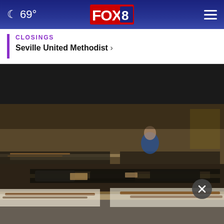69° FOX 8
CLOSINGS
Seville United Methodist ›
[Figure (photo): Indoor scene with tables covered in black fabric and various items including what appear to be rifles or long guns laid out on tables; a person in a blue shirt is seated in the background; dimly lit room resembling a police or law enforcement evidence/display setting.]